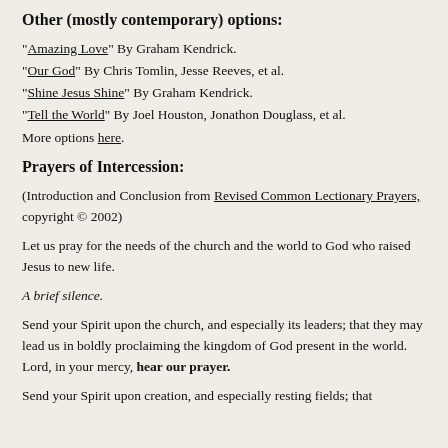Other (mostly contemporary) options:
“Amazing Love” By Graham Kendrick.
“Our God” By Chris Tomlin, Jesse Reeves, et al.
“Shine Jesus Shine” By Graham Kendrick.
“Tell the World” By Joel Houston, Jonathon Douglass, et al.
More options here.
Prayers of Intercession:
(Introduction and Conclusion from Revised Common Lectionary Prayers, copyright © 2002)
Let us pray for the needs of the church and the world to God who raised Jesus to new life.
A brief silence.
Send your Spirit upon the church, and especially its leaders; that they may lead us in boldly proclaiming the kingdom of God present in the world. Lord, in your mercy, hear our prayer.
Send your Spirit upon creation, and especially resting fields; that